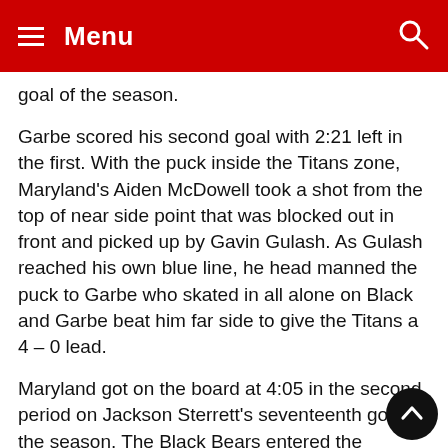Menu
goal of the season.
Garbe scored his second goal with 2:21 left in the first. With the puck inside the Titans zone, Maryland's Aiden McDowell took a shot from the top of near side point that was blocked out in front and picked up by Gavin Gulash. As Gulash reached his own blue line, he head manned the puck to Garbe who skated in all alone on Black and Garbe beat him far side to give the Titans a 4 – 0 lead.
Maryland got on the board at 4:05 in the second period on Jackson Sterrett's seventeenth goal of the season. The Black Bears entered the offensive zone on a three-on-two rush. As Aaron Swanson gained the line, he passed the puck over to Sterrett on his right. Sterrett took a shot that was saved by Titans goaltender Pa Ruglioso but Sterrett picked up the rebound and so